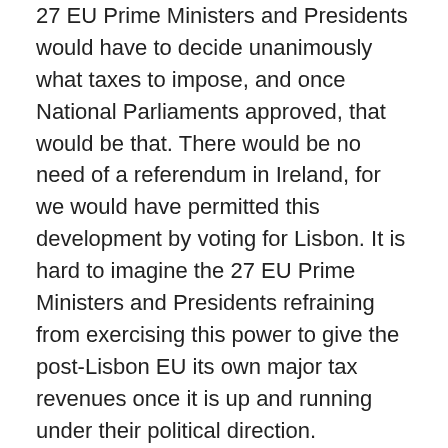27 EU Prime Ministers and Presidents would have to decide unanimously what taxes to impose, and once National Parliaments approved, that would be that. There would be no need of a referendum in Ireland, for we would have permitted this development by voting for Lisbon. It is hard to imagine the 27 EU Prime Ministers and Presidents refraining from exercising this power to give the post-Lisbon EU its own major tax revenues once it is up and running under their political direction.
The Treaties would also provide for qualified majority voting on laws governing foreign direct investment (Art.64.2 TFEU) and international agreements on foreign investment(Art.207.1 TFEU). Such rules could significantly affect bodies like the IDA, which have been so important for attracting foreign investment to Ireland over the years.
9. Lisbon would give the EU the power to decide our